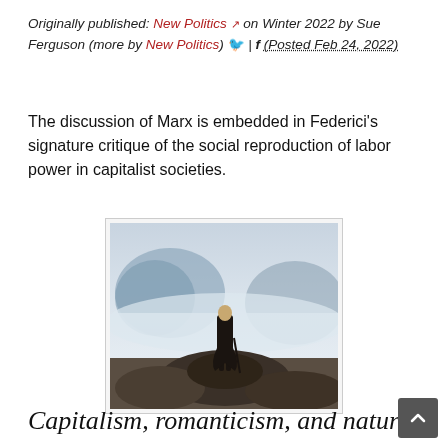Originally published: New Politics [external link] on Winter 2022 by Sue Ferguson (more by New Politics) [twitter] | [facebook] (Posted Feb 24, 2022)
The discussion of Marx is embedded in Federici's signature critique of the social reproduction of labor power in capitalist societies.
[Figure (photo): Painting of a man in a dark coat standing on a rocky peak, viewed from behind, looking out over a misty mountainous landscape — Caspar David Friedrich's 'Wanderer above the Sea of Fog'.]
Capitalism, romanticism, and nature